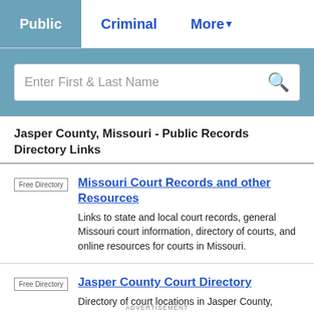Public | Criminal | More
Enter First & Last Name
Jasper County, Missouri - Public Records Directory Links
Free Directory | Missouri Court Records and other Resources — Links to state and local court records, general Missouri court information, directory of courts, and online resources for courts in Missouri.
Free Directory | Jasper County Court Directory — Directory of court locations in Jasper County, Missouri...
ADVERTISEMENT